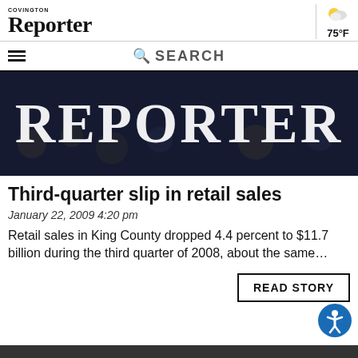COVINGTON REPORTER — 75°F
SEARCH
[Figure (photo): Dark hero banner image showing a crowd with large white REPORTER text overlay]
Third-quarter slip in retail sales
January 22, 2009 4:20 pm
Retail sales in King County dropped 4.4 percent to $11.7 billion during the third quarter of 2008, about the same…